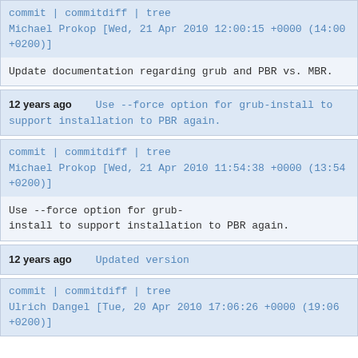commit | commitdiff | tree
Michael Prokop [Wed, 21 Apr 2010 12:00:15 +0000 (14:00 +0200)]
Update documentation regarding grub and PBR vs. MBR.
12 years ago    Use --force option for grub-install to support installation to PBR again.
commit | commitdiff | tree
Michael Prokop [Wed, 21 Apr 2010 11:54:38 +0000 (13:54 +0200)]
Use --force option for grub-install to support installation to PBR again.
12 years ago    Updated version
commit | commitdiff | tree
Ulrich Dangel [Tue, 20 Apr 2010 17:06:26 +0000 (19:06 +0200)]